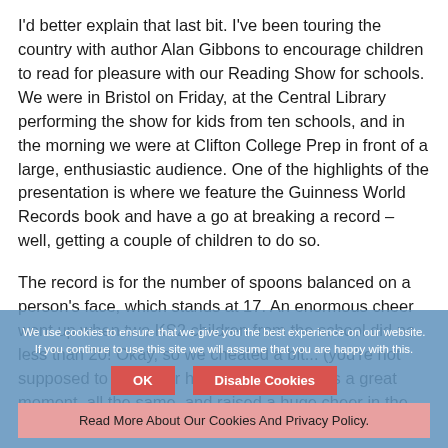I'd better explain that last bit. I've been touring the country with author Alan Gibbons to encourage children to read for pleasure with our Reading Show for schools. We were in Bristol on Friday, at the Central Library performing the show for kids from ten schools, and in the morning we were at Clifton College Prep in front of a large, enthusiastic audience. One of the highlights of the presentation is where we feature the Guinness World Records book and have a go at breaking a record – well, getting a couple of children to do so.
The record is for the number of spoons balanced on a person's face, which stands at 17. An enormous cheer went up when two KS2 children from the school did no less than 20! Okay, so we cheated a bit... (you're not supposed to lean your head back) but it was a great moment, all the same, and raised a huge cheer in the hall.
We use cookies to ensure that we give you the best experience on our website. If you continue to use this site we will assume that you are happy with this.
OK | Disable Cookies
Read More About Our Cookies And Privacy Policy.